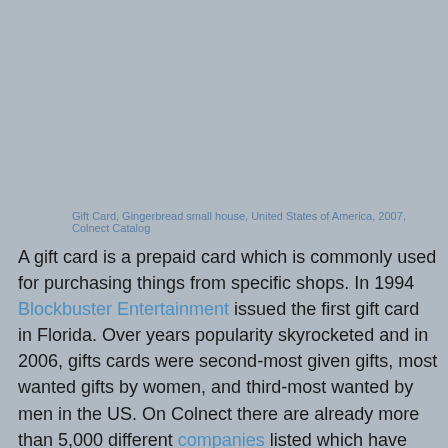Gift Card, Gingerbread small house, United States of America, 2007, Colnect Catalog
A gift card is a prepaid card which is commonly used for purchasing things from specific shops. In 1994 Blockbuster Entertainment issued the first gift card in Florida. Over years popularity skyrocketed and in 2006, gifts cards were second-most given gifts, most wanted gifts by women, and third-most wanted by men in the US. On Colnect there are already more than 5,000 different companies listed which have issued gift cards over the years.